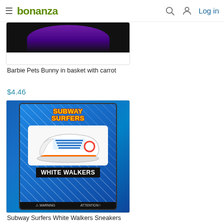bonanza  Log in
[Figure (photo): Partially visible product card showing a Barbie Pets Bunny in basket with carrot item on Bonanza marketplace]
Barbie Pets Bunny in basket with carrot
$4.46
[Figure (photo): Product listing card for Subway Surfers White Walkers Sneakers bag carabiner clip sticker, showing toy packaging with blue background, sneaker graphic, and White Walkers text]
Subway Surfers White Walkers Sneakers bag carabiner clip sticker